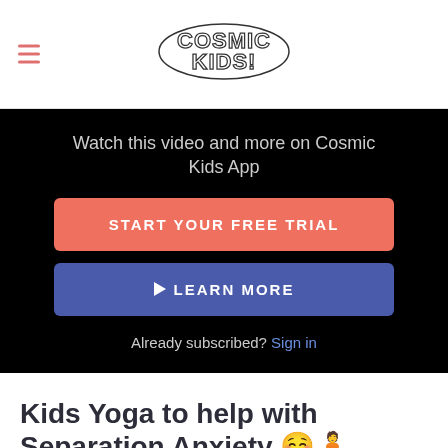Cosmic Kids!
Watch this video and more on Cosmic Kids App
START YOUR FREE TRIAL
▶ LEARN MORE
Already subscribed? Sign in
Kids Yoga to help with Separation Anxiety 😊🧘
EXTENDED PLAY COMPILATIONS • 51m